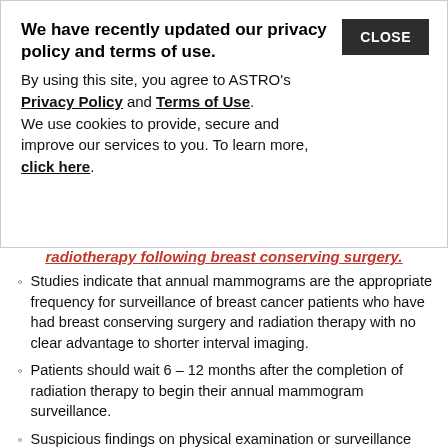We have recently updated our privacy policy and terms of use. By using this site, you agree to ASTRO's Privacy Policy and Terms of Use. We use cookies to provide, secure and improve our services to you. To learn more, click here.
radiotherapy following breast conserving surgery.
Studies indicate that annual mammograms are the appropriate frequency for surveillance of breast cancer patients who have had breast conserving surgery and radiation therapy with no clear advantage to shorter interval imaging.
Patients should wait 6 – 12 months after the completion of radiation therapy to begin their annual mammogram surveillance.
Suspicious findings on physical examination or surveillance imaging might warrant a shorter interval between mammograms.